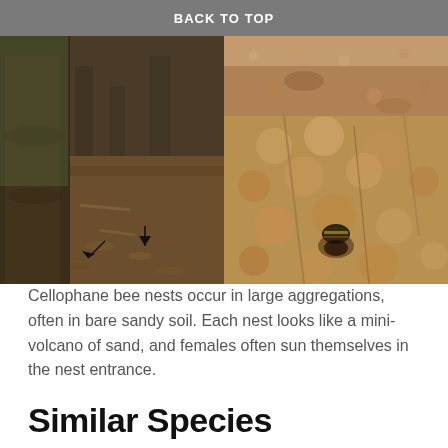BACK TO TOP
[Figure (photo): Two photos of cellophane bee nests. Left: ground-level view near a tree base with arrows pointing to small nest entrances in bare soil. Right top: close-up of sandy soil surface. Right bottom: close-up of a bee emerging from or entering a mound of sandy soil resembling a mini-volcano.]
Cellophane bee nests occur in large aggregations, often in bare sandy soil. Each nest looks like a mini-volcano of sand, and females often sun themselves in the nest entrance.
Similar Species
Cellophane bees Colletes can appear similar to